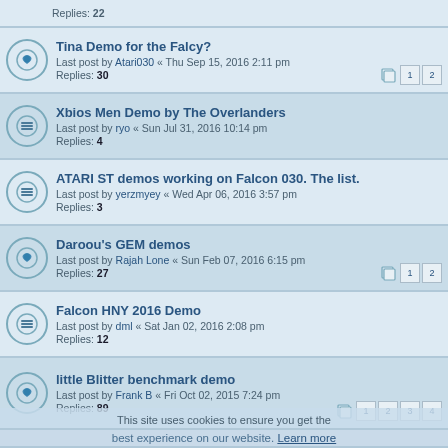Replies: 22
Tina Demo for the Falcy?
Last post by Atari030 « Thu Sep 15, 2016 2:11 pm
Replies: 30
Xbios Men Demo by The Overlanders
Last post by ryo « Sun Jul 31, 2016 10:14 pm
Replies: 4
ATARI ST demos working on Falcon 030. The list.
Last post by yerzmyey « Wed Apr 06, 2016 3:57 pm
Replies: 3
Daroou's GEM demos
Last post by Rajah Lone « Sun Feb 07, 2016 6:15 pm
Replies: 27
Falcon HNY 2016 Demo
Last post by dml « Sat Jan 02, 2016 2:08 pm
Replies: 12
little Blitter benchmark demo
Last post by Frank B « Fri Oct 02, 2015 7:24 pm
Replies: 89
Best or favourite Falcon Demo's
Last post by Atari030 « Thu Sep 24, 2015 1:11 am
Replies: 30
Street Art, Japan Beauties... 4Mo STe demos
Last post by DataPro « Fri Jul 17, 2015 12:26 pm
Replies: 4